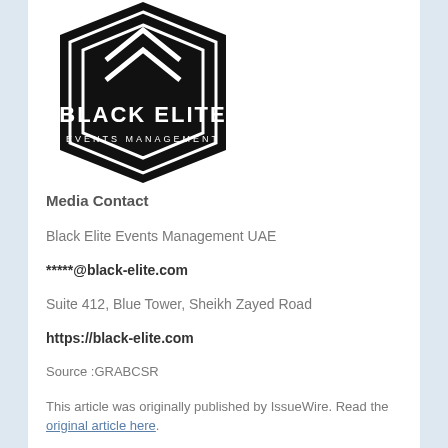[Figure (logo): Black Elite Events Management logo — black hexagonal badge shape with white geometric shield/arrow motif and white text 'BLACK ELITE EVENTS MANAGEMENT']
Media Contact
Black Elite Events Management UAE
*****@black-elite.com
Suite 412, Blue Tower, Sheikh Zayed Road
https://black-elite.com
Source :GRABCSR
This article was originally published by IssueWire. Read the original article here.